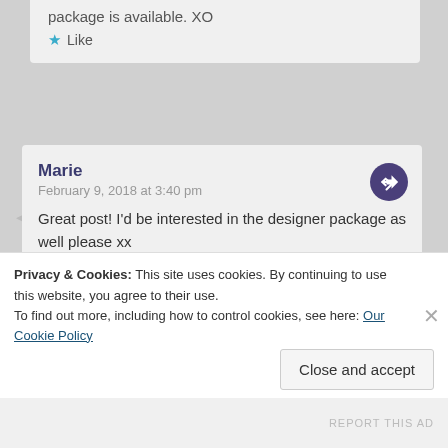package is available. XO
Like
Marie
February 9, 2018 at 3:40 pm
Great post! I'd be interested in the designer package as well please xx
Like
bigceelittlecee
Privacy & Cookies: This site uses cookies. By continuing to use this website, you agree to their use.
To find out more, including how to control cookies, see here: Our Cookie Policy
Close and accept